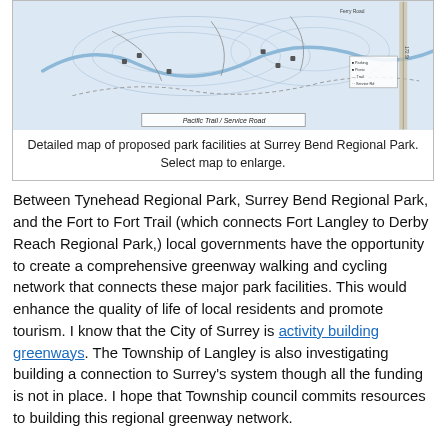[Figure (map): Detailed map of proposed park facilities at Surrey Bend Regional Park showing trails, service roads, and park layout including Pacific Trail / Service Road label.]
Detailed map of proposed park facilities at Surrey Bend Regional Park. Select map to enlarge.
Between Tynehead Regional Park, Surrey Bend Regional Park, and the Fort to Fort Trail (which connects Fort Langley to Derby Reach Regional Park,) local governments have the opportunity to create a comprehensive greenway walking and cycling network that connects these major park facilities. This would enhance the quality of life of local residents and promote tourism. I know that the City of Surrey is activity building greenways. The Township of Langley is also investigating building a connection to Surrey's system though all the funding is not in place. I hope that Township council commits resources to building this regional greenway network.